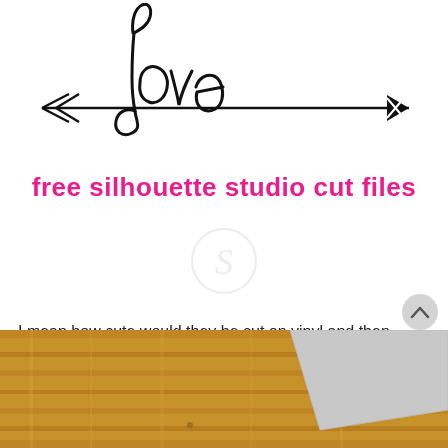[Figure (illustration): Decorative 'love' script text with arrow passing through it, pointing left and right, in black on white background]
free silhouette studio cut files
[Figure (logo): Silhouette Studio circular logo with stylized 'S', light gray, watermark style]
I mean how cute would they be cut on vinyl and then placed on a faux wood tile? Or how about cut on HTV and applied to a throw pillow cover.  Here are a few quick mockups I created in Silhouette Studio to get your creative juices flowing.
[Figure (photo): Photo of faux wood tile / wooden surface with light gray tile piece visible in upper right corner]